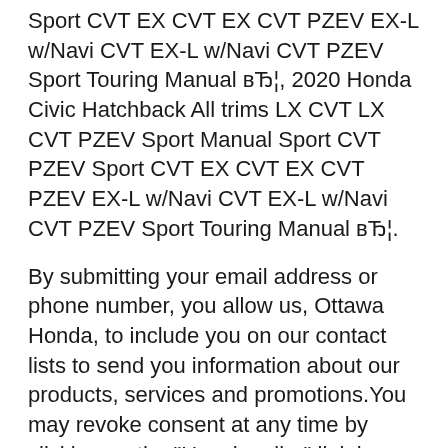Sport CVT EX CVT EX CVT PZEV EX-L w/Navi CVT EX-L w/Navi CVT PZEV Sport Touring Manual вЂ¦, 2020 Honda Civic Hatchback All trims LX CVT LX CVT PZEV Sport Manual Sport CVT PZEV Sport CVT EX CVT EX CVT PZEV EX-L w/Navi CVT EX-L w/Navi CVT PZEV Sport Touring Manual вЂ¦.
By submitting your email address or phone number, you allow us, Ottawa Honda, to include you on our contact lists to send you information about our products, services and promotions.You may revoke consent at any time by clicking on the "Unsubscribe" link in your email. New 2020 Honda Civic Hatchback at 24,190 for sale in Toronto